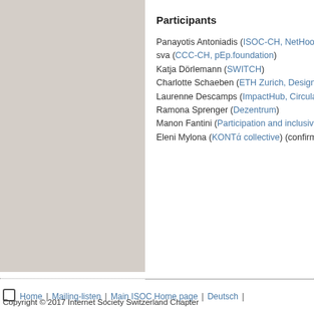Participants
Panayotis Antoniadis (ISOC-CH, NetHoo sva (CCC-CH, pEp.foundation)
Katja Dörlemann (SWITCH)
Charlotte Schaeben (ETH Zurich, Design…
Laurenne Descamps (ImpactHub, Circula…
Ramona Sprenger (Dezentrum)
Manon Fantini (Participation and inclusive…
Eleni Mylona (KONTά collective) (confirm…
Map
Home | Mailing-listen | Main ISOC Home page | Deutsch | Copyright © 2017 Internet Society Switzerland Chapter